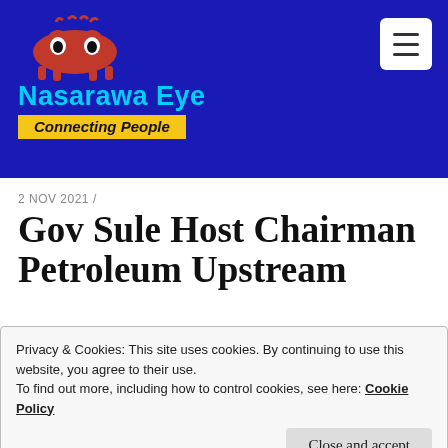Nasarawa Eye — Connecting People
2 NOV 2021 /
Gov Sule Host Chairman Petroleum Upstream
Privacy & Cookies: This site uses cookies. By continuing to use this website, you agree to their use.
To find out more, including how to control cookies, see here: Cookie Policy
Close and accept